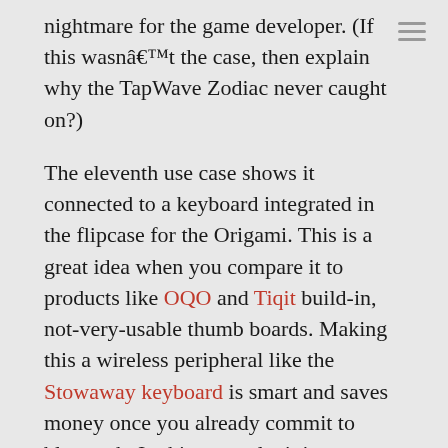nightmare for the game developer. (If this wasnâ€™t the case, then explain why the TapWave Zodiac never caught on?)
The eleventh use case shows it connected to a keyboard integrated in the flipcase for the Origami. This is a great idea when you compare it to products like OQO and Tiqit build-in, not-very-usable thumb boards. Making this a wireless peripheral like the Stowaway keyboard is smart and saves money once you already commit to bluetooth. In this example, it is connected via 802.11 to an instant messaging session while the person is waiting at a train station.
The last use case is just a summary of the rest. The person takes a snapshot with their cell phone